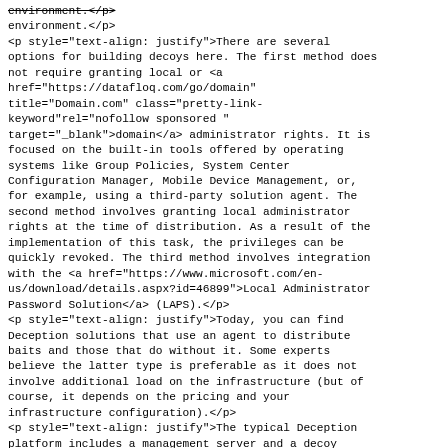environment.</p>
<p style="text-align: justify">There are several options for building decoys here. The first method does not require granting local or <a href="https://datafloq.com/go/domain" title="Domain.com" class="pretty-link-keyword"rel="nofollow sponsored " target="_blank">domain</a> administrator rights. It is focused on the built-in tools offered by operating systems like Group Policies, System Center Configuration Manager, Mobile Device Management, or, for example, using a third-party solution agent. The second method involves granting local administrator rights at the time of distribution. As a result of the implementation of this task, the privileges can be quickly revoked. The third method involves integration with the <a href="https://www.microsoft.com/en-us/download/details.aspx?id=46899">Local Administrator Password Solution</a> (LAPS).</p>
<p style="text-align: justify">Today, you can find Deception solutions that use an agent to distribute baits and those that do without it. Some experts believe the latter type is preferable as it does not involve additional load on the infrastructure (but of course, it depends on the pricing and your infrastructure configuration).</p>
<p style="text-align: justify">The typical Deception platform includes a management server and a decoy server. All traffic between these components is encrypted with the help of this platform. Interaction